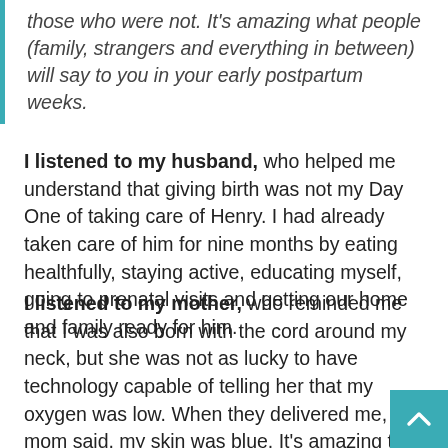those who were not. It's amazing what people (family, strangers and everything in between) will say to you in your early postpartum weeks.
I listened to my husband, who helped me understand that giving birth was not my Day One of taking care of Henry. I had already taken care of him for nine months by eating healthfully, staying active, educating myself, going to prenatal visits and getting our home and family ready for him.
I listened to my mother, who reminded me that I was also born with the cord around my neck, but she was not as lucky to have technology capable of telling her that my oxygen was low. When they delivered me, my mom said, my skin was blue. It's amazing that I had no complications from oxygen deprivation, such as resulting disability or brain damage. Hearing that